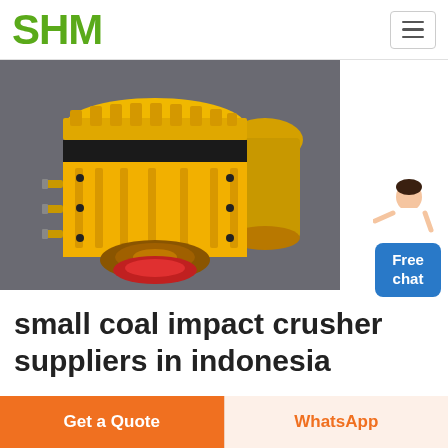SHM
[Figure (photo): Yellow industrial cone crusher machine in a factory/warehouse setting. Two large yellow cone crushers visible, with black ring detail on the main one in the foreground.]
small coal impact crusher suppliers in indonesia
coal crusher manufacturer in...